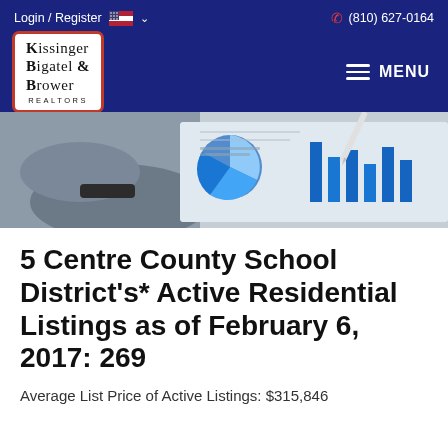Login / Register   🇺🇸 ∨   (810) 627-0164
[Figure (logo): Kissinger Bigatel & Brower Realtors logo in white box with red border, on dark navy blue header bar with MENU button]
[Figure (photo): Banner photo showing a person pointing at financial charts and graphs on paper]
5 Centre County School District's* Active Residential Listings as of February 6, 2017:  269
Average List Price of Active Listings: $315,846